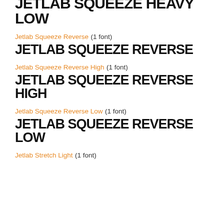[Figure (other): Font preview text for Jetlab Squeeze Heavy Low in large bold condensed display typeface]
Jetlab Squeeze Reverse (1 font)
[Figure (other): Font preview text: Jetlab Squeeze Reverse in large bold condensed display typeface]
Jetlab Squeeze Reverse High (1 font)
[Figure (other): Font preview text: Jetlab Squeeze Reverse High in large bold condensed display typeface]
Jetlab Squeeze Reverse Low (1 font)
[Figure (other): Font preview text: Jetlab Squeeze Reverse Low in large bold condensed display typeface]
Jetlab Stretch Light (1 font)